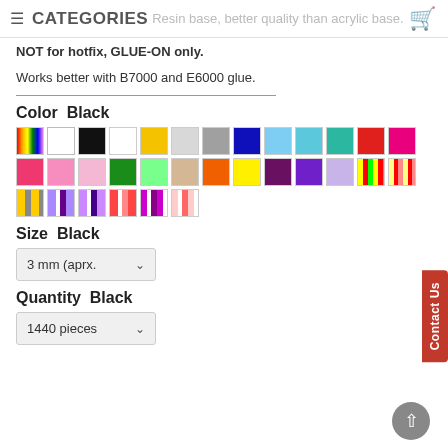≡ CATEGORIES   Resin base, better quality than acrylic base.
NOT for hotfix, GLUE-ON only.
Works better with B7000 and E6000 glue.
Color  Black
[Figure (other): Color swatch grid showing approximately 36 color options including rainbow, white, black, yellow, gray, dark blue, light blue, teal, red, hot pink, pink, light pink, green, lime, beige, orange, bright yellow, purple, violet, lavender, and various multicolor stripe swatches]
Size  Black
3 mm (aprx. ▾
Quantity  Black
1440 pieces ▾